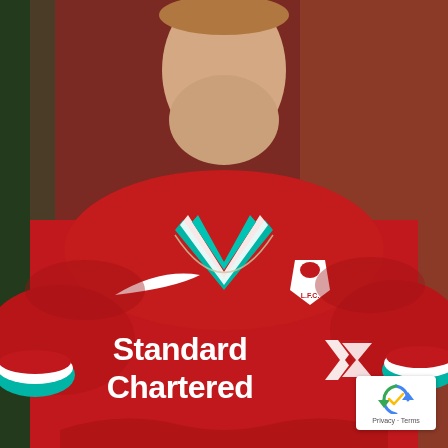[Figure (photo): A young man wearing a Liverpool FC 2020/21 home kit — a red Nike jersey with teal/white collar trim, teal cuff trim, white Nike swoosh on the left chest, Liverpool FC Liver Bird crest with 'L.F.C.' text on the right chest, and 'Standard Chartered' sponsor text across the front with a red chevron logo. He is wearing a silver chain necklace. The background is a dark reddish-brown wall.]
[Figure (logo): Google reCAPTCHA badge in the bottom-right corner showing the reCAPTCHA icon (circular arrow with a checkmark) and 'Privacy · Terms' text below it.]